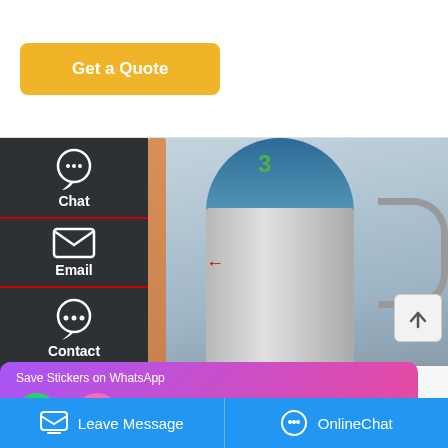Get a Quote
[Figure (photo): Industrial 4t natural gas boiler in a factory setting, showing a large cylindrical silver boiler with teal/blue top dome marked with number 3, surrounded by orange and red piping, gauges, and industrial equipment. Left sidebar shows Chat, Email, and Contact icons overlay on the image.]
Industrial 4t Natural Gas boiler
Save Stickers on WhatsApp
Leave Message
OnlineChat